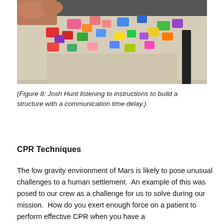[Figure (photo): A person's hands arranging colorful building blocks (red, pink, green, blue, yellow, purple) scattered on a beige table. A black table leg is visible in the background.]
(Figure 8: Josh Hunt listening to instructions to build a structure with a communication time delay.)
CPR Techniques
The low gravity environment of Mars is likely to pose unusual challenges to a human settlement.  An example of this was posed to our crew as a challenge for us to solve during our mission.  How do you exert enough force on a patient to perform effective CPR when you have a